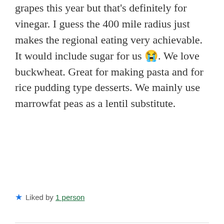grapes this year but that's definitely for vinegar. I guess the 400 mile radius just makes the regional eating very achievable. It would include sugar for us 😭. We love buckwheat. Great for making pasta and for rice pudding type desserts. We mainly use marrowfat peas as a lentil substitute.
★ Liked by 1 person
lisinmayenne NOVEMBER 6, 2021 AT 12:29 PM
There were a couple of grapevines here